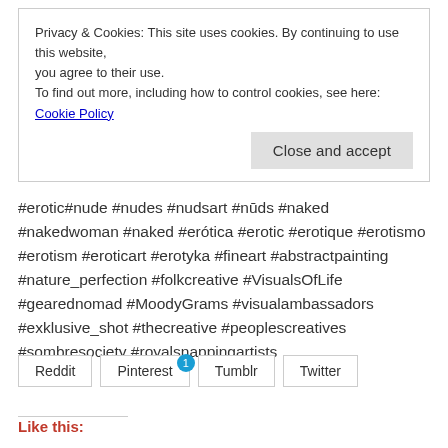Privacy & Cookies: This site uses cookies. By continuing to use this website, you agree to their use.
To find out more, including how to control cookies, see here: Cookie Policy
Close and accept
#erotic#nude #nudes #nudsart #nūds #naked #nakedwoman #naked #erótica #erotic #erotique #erotismo #erotism #eroticart #erotyka #fineart #abstractpainting #nature_perfection #folkcreative #VisualsOfLife #gearednomad #MoodyGrams #visualambassadors #exklusive_shot #thecreative #peoplescreatives #sombresociety #royalsnappingartists
Reddit  Pinterest 1  Tumblr  Twitter
Like this: